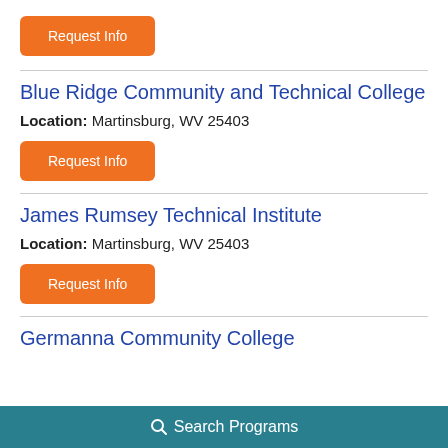Request Info
Blue Ridge Community and Technical College
Location: Martinsburg, WV 25403
Request Info
James Rumsey Technical Institute
Location: Martinsburg, WV 25403
Request Info
Germanna Community College
Search Programs